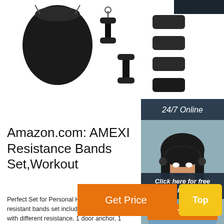[Figure (photo): Product photo showing AMEXI resistance bands set components: black drawstring bag, handle attachments, door anchor, ankle straps on white background]
Amazon.com: AMEXI Resistance Bands Set,Workout
Perfect Set for Personal Home GYM: The resistant bands set includes 5 exercise bands with different resistance, 1 door anchor, 1 protective sleeve and 1 figure 8 exercise cushioned handles, 2 ankle straps, 1 water carrying bag and guide book.
[Figure (photo): 24/7 Online customer service agent - woman with headset smiling, with dark navy background, Click here for free chat button and QUOTATION orange button]
Get Price
Top